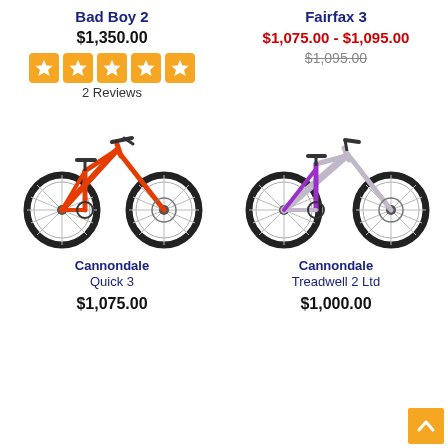Bad Boy 2
$1,350.00
[Figure (other): 5 orange star rating icons]
2 Reviews
Fairfax 3
$1,075.00 - $1,095.00
$1,095.00 (strikethrough)
[Figure (photo): Red Cannondale Quick 3 bicycle]
[Figure (photo): Purple/silver Cannondale Treadwell 2 Ltd bicycle]
Cannondale Quick 3
$1,075.00
Cannondale Treadwell 2 Ltd
$1,000.00